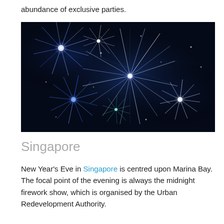abundance of exclusive parties.
[Figure (photo): Fireworks display with blue, white, and teal streaks against a dark night sky, featuring multiple large bursts of light.]
Singapore
New Year's Eve in Singapore is centred upon Marina Bay. The focal point of the evening is always the midnight firework show, which is organised by the Urban Redevelopment Authority.